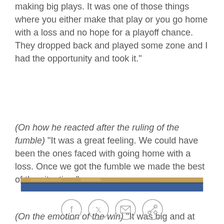making big plays. It was one of those things where you either make that play or you go home with a loss and no hope for a playoff chance. They dropped back and played some zone and I had the opportunity and took it."
(On how he reacted after the ruling of the fumble) "It was a great feeling. We could have been the ones faced with going home with a loss. Once we got the fumble we made the best of the situation."
(On the emotion of the win) "It was big and at this point in the season, it gives us a lot of momentum and confidence because it was a total team effort. This gives us a very good shot of possibly getting into the playoffs."
[Figure (photo): Partial view of a blue and gold sports field or banner image at the bottom of the page]
[Figure (infographic): Social media sharing icons: Facebook, Twitter, Email, Link]